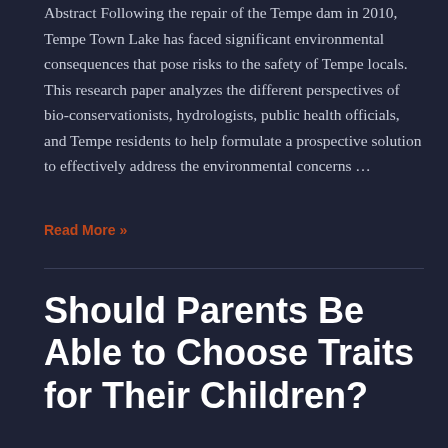Abstract Following the repair of the Tempe dam in 2010, Tempe Town Lake has faced significant environmental consequences that pose risks to the safety of Tempe locals. This research paper analyzes the different perspectives of bio-conservationists, hydrologists, public health officials, and Tempe residents to help formulate a prospective solution to effectively address the environmental concerns …
Read More »
Should Parents Be Able to Choose Traits for Their Children?